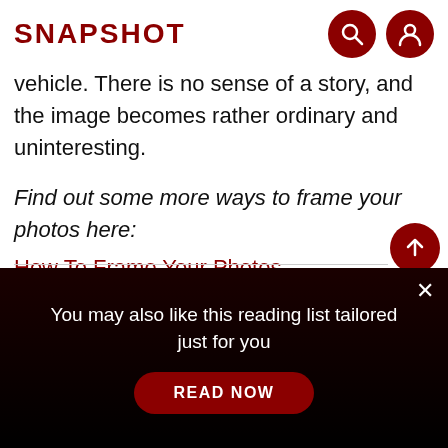SNAPSHOT
vehicle. There is no sense of a story, and the image becomes rather ordinary and uninteresting.
Find out some more ways to frame your photos here:
How To Frame Your Photos
You may also like this reading list tailored just for you
READ NOW